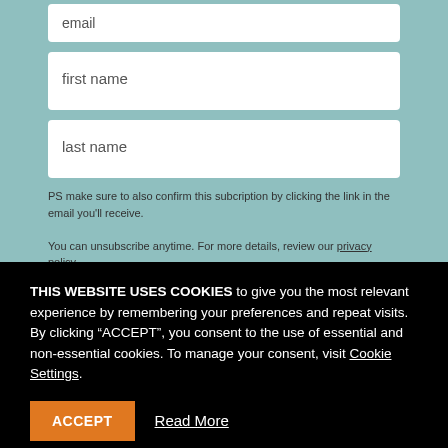email
first name
last name
PS make sure to also confirm this subcription by clicking the link in the email you'll receive.

You can unsubscribe anytime. For more details, review our privacy policy.
THIS WEBSITE USES COOKIES to give you the most relevant experience by remembering your preferences and repeat visits. By clicking “ACCEPT”, you consent to the use of essential and non-essential cookies. To manage your consent, visit Cookie Settings.
ACCEPT
Read More